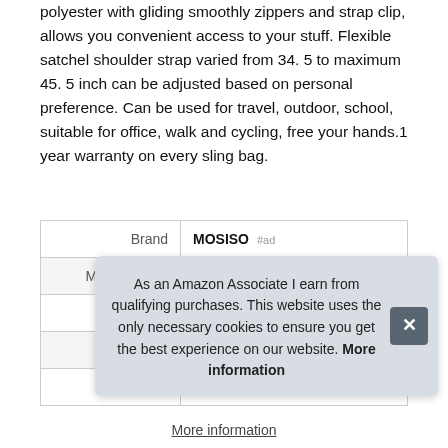polyester with gliding smoothly zippers and strap clip, allows you convenient access to your stuff. Flexible satchel shoulder strap varied from 34. 5 to maximum 45. 5 inch can be adjusted based on personal preference. Can be used for travel, outdoor, school, suitable for office, walk and cycling, free your hands.1 year warranty on every sling bag.
|  |  |
| --- | --- |
| Brand | MOSISO #ad |
| Manufacturer | Mosiso #ad |
| Height | 7.1 Inches |
| Length | 14.9 Inches |
| P |  |
As an Amazon Associate I earn from qualifying purchases. This website uses the only necessary cookies to ensure you get the best experience on our website. More information